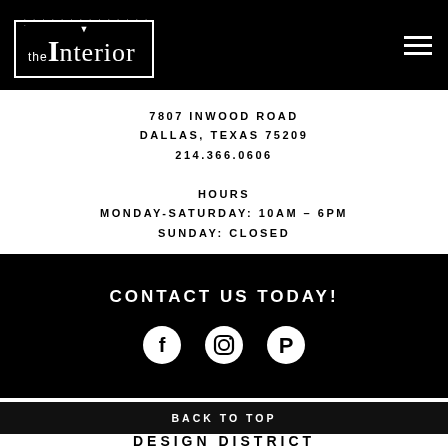[Figure (logo): The Interior logo with white text on black background, dotted border box around text]
7807 INWOOD ROAD
DALLAS, TEXAS 75209
214.366.0606
HOURS
MONDAY-SATURDAY: 10AM - 6PM
SUNDAY: CLOSED
CONTACT US TODAY!
[Figure (illustration): Social media icons: Facebook, Instagram, Pinterest in white circles on black background]
BACK TO TOP
DESIGN DISTRICT